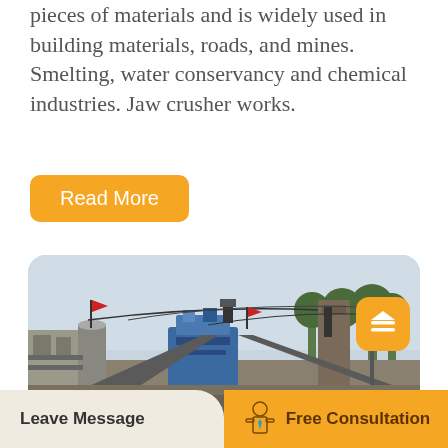pieces of materials and is widely used in building materials, roads, and mines. Smelting, water conservancy and chemical industries. Jaw crusher works.
[Figure (other): Yellow 'Read More' button with rounded corners on white background]
[Figure (photo): Industrial mining/crushing plant with blue machinery, conveyor belts, red flags, and overhead cables against a light grey sky]
Leave Message
Free Consultation